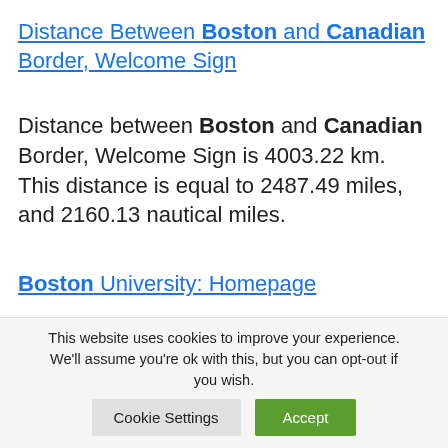Distance Between Boston and Canadian Border, Welcome Sign
Distance between Boston and Canadian Border, Welcome Sign is 4003.22 km. This distance is equal to 2487.49 miles, and 2160.13 nautical miles.
Boston University: Homepage
Boston University is a leading private
This website uses cookies to improve your experience. We'll assume you're ok with this, but you can opt-out if you wish.